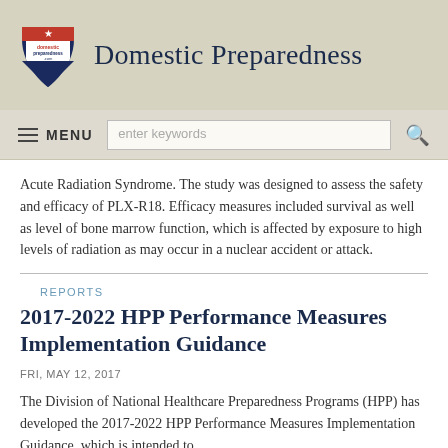Domestic Preparedness
Acute Radiation Syndrome. The study was designed to assess the safety and efficacy of PLX-R18. Efficacy measures included survival as well as level of bone marrow function, which is affected by exposure to high levels of radiation as may occur in a nuclear accident or attack.
REPORTS
2017-2022 HPP Performance Measures Implementation Guidance
FRI, MAY 12, 2017
The Division of National Healthcare Preparedness Programs (HPP) has developed the 2017-2022 HPP Performance Measures Implementation Guidance, which is intended to